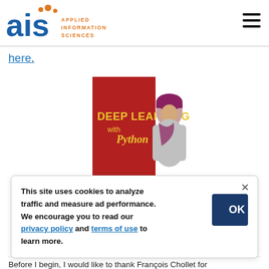[Figure (logo): AIS Applied Information Sciences logo with orange dots and blue text]
here.
[Figure (photo): Book cover: Deep Learning with Python, red cover with illustrated figure]
This site uses cookies to analyze traffic and measure ad performance. We encourage you to read our privacy policy and terms of use to learn more.
Before I begin, I would like to thank François Chollet for